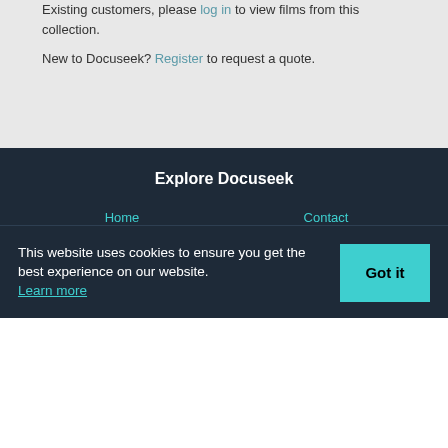Existing customers, please log in to view films from this collection.
New to Docuseek? Register to request a quote.
Explore Docuseek
Home
Browse
New Releases
About
Contact
Help
Newsletters
Classic Theme
This website uses cookies to ensure you get the best experience on our website. Learn more